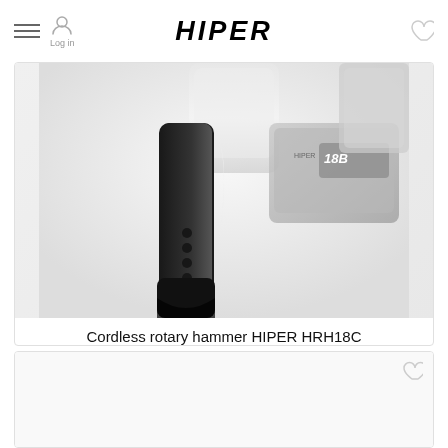HIPER — Log in
[Figure (photo): Close-up photo of a cordless rotary hammer drill (HIPER HRH18C) showing black rubber grip handle and white/gray 18V battery pack, in grayscale]
Cordless rotary hammer HIPER HRH18C
[Figure (photo): Partial view of a second product card at the bottom of the page, content not fully visible]